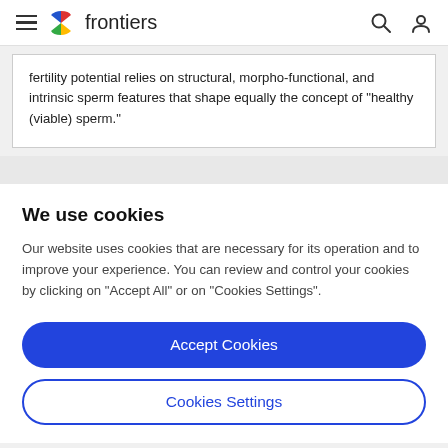frontiers
fertility potential relies on structural, morpho-functional, and intrinsic sperm features that shape equally the concept of "healthy (viable) sperm."
We use cookies
Our website uses cookies that are necessary for its operation and to improve your experience. You can review and control your cookies by clicking on "Accept All" or on "Cookies Settings".
Accept Cookies
Cookies Settings